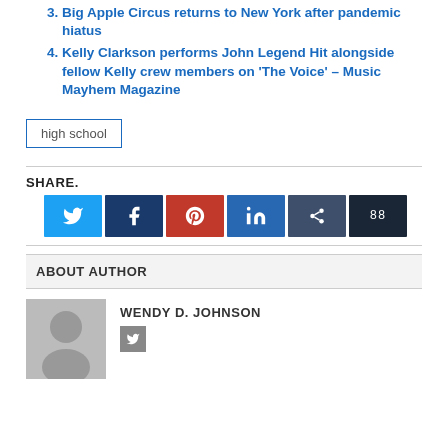3. Big Apple Circus returns to New York after pandemic hiatus
4. Kelly Clarkson performs John Legend Hit alongside fellow Kelly crew members on 'The Voice' – Music Mayhem Magazine
high school
SHARE.
[Figure (other): Six social media share buttons: Twitter (light blue), Facebook (dark blue), Pinterest (red), LinkedIn (medium blue), another share (dark slate), and a numbered share counter (darkest blue) showing 88]
ABOUT AUTHOR
[Figure (photo): Gray placeholder avatar showing a silhouette of a person]
WENDY D. JOHNSON
[Figure (other): Small gray social media icon button]